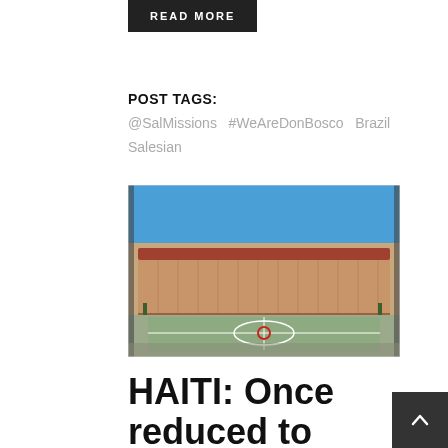READ MORE
POST TAGS:
@SalMissions  #WeAreDonBosco  Brazil  Salesian
[Figure (photo): A large school or institutional building with a red roof and covered walkways, viewed from a courtyard with a painted basketball/sports court in the foreground. Clear blue sky above. The photo appears to be taken through a doorway or gate.]
HAITI: Once reduced to